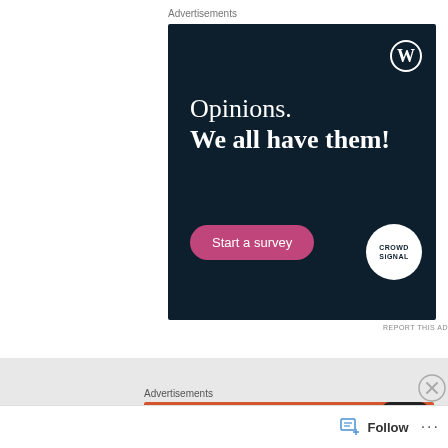Advertisements
[Figure (illustration): WordPress advertisement with dark navy background. Shows WordPress logo (W in circle) top right. Text reads 'Opinions. We all have them!' with a pink 'Start a survey' button and Crowdsignal logo bottom right.]
REPORT THIS AD
[Figure (illustration): Close (X) button circle icon]
Advertisements
[Figure (illustration): DuckDuckGo advertisement on orange/red background. Text reads 'Search, browse, and email with more privacy.' Partially visible. Phone mockup on right with DuckDuckGo duck logo.]
Follow
···